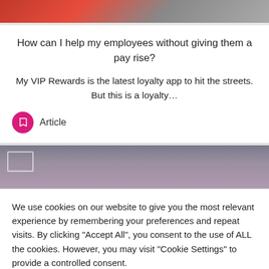[Figure (photo): Partial top image showing people, partially cropped, with red and grey tones]
How can I help my employees without giving them a pay rise?
My VIP Rewards is the latest loyalty app to hit the streets. But this is a loyalty…
Article
[Figure (photo): Partial image of a person with purple hair, partially cropped]
We use cookies on our website to give you the most relevant experience by remembering your preferences and repeat visits. By clicking "Accept All", you consent to the use of ALL the cookies. However, you may visit "Cookie Settings" to provide a controlled consent.